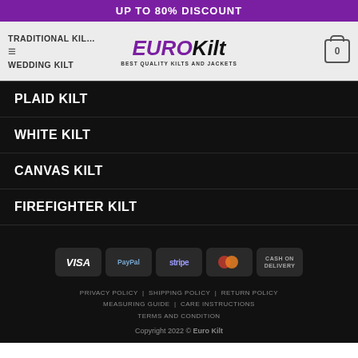UP TO 80% DISCOUNT
[Figure (logo): EuroKilt logo with text BEST QUALITY KILTS AND JACKETS and navigation items TRADITIONAL KILT and WEDDING KILT]
PLAID KILT
WHITE KILT
CANVAS KILT
FIREFIGHTER KILT
[Figure (infographic): Payment method icons: VISA, PayPal, stripe, MasterCard, CASH ON DELIVERY]
PRIVACY POLICY | SHIPPING POLICY | RETURN POLICY | MEASURING GUIDE | CARE INSTRUCTIONS | TERMS AND CONDITION
Copyright 2022 © Euro Kilt